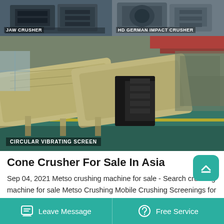[Figure (photo): Top strip with two equipment photos: left shows a JAW CRUSHER (industrial jaw crusher machine), right shows HD GERMAN IMPACT CRUSHER]
[Figure (photo): Large photo of a CIRCULAR VIBRATING SCREEN machinery in an industrial factory setting with green floor and overhead cranes]
Cone Crusher For Sale In Asia
Sep 04, 2021 Metso crushing machine for sale - Search crushing machine for sale Metso Crushing Mobile Crushing Screenings for sale in Australia - Metso 293 Crushing Screening Machinery for Sale Machines4u Metso Portable Rock Crusher Aggregate Crushing Plant For Sale - New Metso Portable Rock Crusher rock crusher.
Leave Message   Free Service